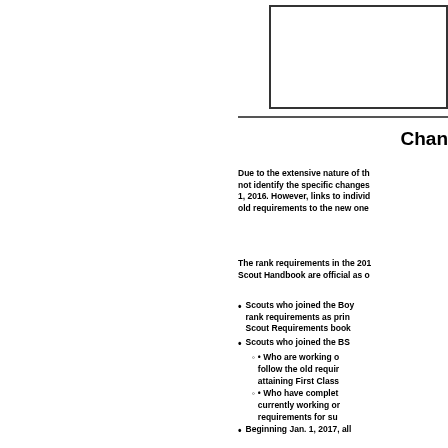[Figure (other): A rectangular box outline, likely a placeholder for an image or logo, positioned in the upper right of the page.]
Chan
Due to the extensive nature of the changes, this document does not identify the specific changes that were made effective January 1, 2016. However, links to individual pages comparing the old requirements to the new ones are listed below.
The rank requirements in the 2016 printing of the Boy Scout Handbook are official as of January 1, 2016.
Scouts who joined the Boy Scouts before Jan. 1, 2016 follow the rank requirements as printed in their handbook or the Scout Requirements book.
Scouts who joined the BSA before Jan. 1, 2017
• Who are working on rank requirements below First Class follow the old requirements until they have achieved or are attaining First Class
• Who have completed First Class requirements and are currently working on Star, Life, or Eagle follow the old requirements for such ranks
Beginning Jan. 1, 2017, all